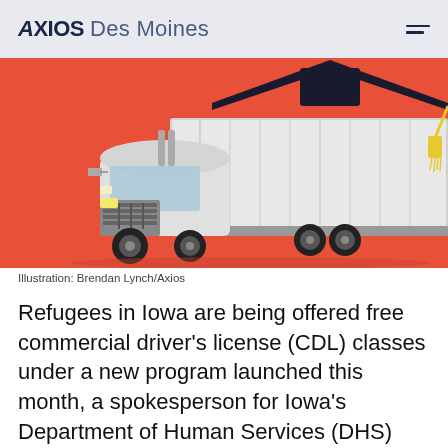AXIOS Des Moines
[Figure (illustration): Illustration of a white semi-truck with a graduation cap on top, against a red/coral background. Truck is an 18-wheeler facing slightly left.]
Illustration: Brendan Lynch/Axios
Refugees in Iowa are being offered free commercial driver's license (CDL) classes under a new program launched this month, a spokesperson for Iowa's Department of Human Services (DHS) told Axios.